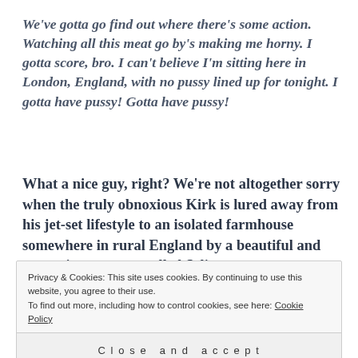We've gotta go find out where there's some action. Watching all this meat go by's making me horny. I gotta score, bro. I can't believe I'm sitting here in London, England, with no pussy lined up for tonight. I gotta have pussy! Gotta have pussy!
What a nice guy, right? We're not altogether sorry when the truly obnoxious Kirk is lured away from his jet-set lifestyle to an isolated farmhouse somewhere in rural England by a beautiful and mysterious woman called Selina.
Privacy & Cookies: This site uses cookies. By continuing to use this website, you agree to their use. To find out more, including how to control cookies, see here: Cookie Policy
Close and accept
macabre things have been going on. It's a bit